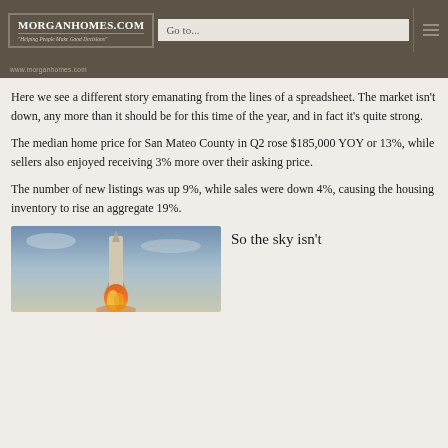MorganHomes.com — Helping People Make Good Decisions — Go to...
Here we see a different story emanating from the lines of a spreadsheet. The market isn't down, any more than it should be for this time of the year, and in fact it's quite strong.
The median home price for San Mateo County in Q2 rose $185,000 YOY or 13%, while sellers also enjoyed receiving 3% more over their asking price.
The number of new listings was up 9%, while sales were down 4%, causing the housing inventory to rise an aggregate 19%.
[Figure (photo): Rocket launching with orange and red flames at bottom, against a blue sky background]
So the sky isn't